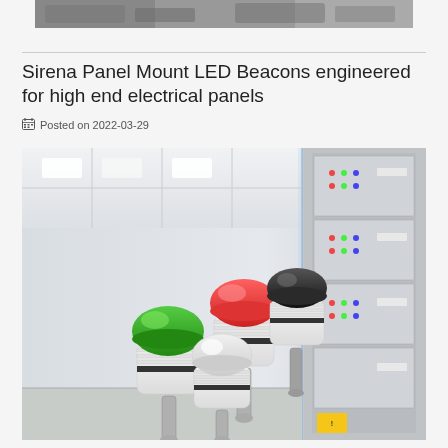[Figure (photo): Top portion of a cropped photo showing industrial/engineering setting]
Sirena Panel Mount LED Beacons engineered for high end electrical panels
Posted on 2022-03-29
[Figure (photo): Photo of four Sirena Panel Mount LED Beacons in red, black, green, and white/clear colors, mounted on white bases with metal connectors, displayed against a background showing electrical control panels]